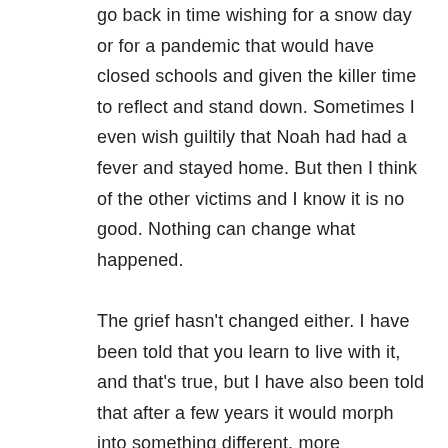go back in time wishing for a snow day or for a pandemic that would have closed schools and given the killer time to reflect and stand down. Sometimes I even wish guiltily that Noah had had a fever and stayed home. But then I think of the other victims and I know it is no good. Nothing can change what happened.

The grief hasn't changed either. I have been told that you learn to live with it, and that's true, but I have also been told that after a few years it would morph into something different, more manageable, more « reasonable. » Well, I am here to tell you it hasn't. And I don't expect it to. In fact I don't want it to. As long as I feel heavy with longing and pain, I know love is alive.